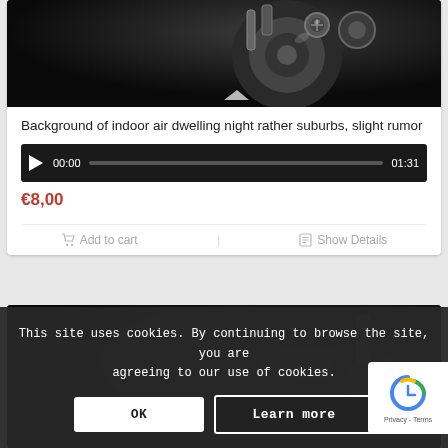[Figure (photo): Dark close-up photo of metallic mechanical parts, gears or bolts, on black background]
Background of indoor air dwelling night rather suburbs, slight rumor
00:00  [audio progress bar]  01:31
€8,00
Add to cart   Show Details
[Figure (photo): Dark background partial card image, appears to show mechanical or music equipment]
This site uses cookies. By continuing to browse the site, you are agreeing to our use of cookies.
OK   Learn more